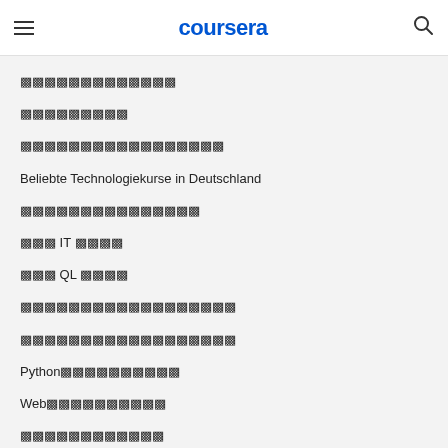coursera
〓〓〓〓〓〓〓〓〓〓〓〓〓
〓〓〓〓〓〓〓〓〓
〓〓〓〓〓〓〓〓〓〓〓〓〓〓〓〓〓
Beliebte Technologiekurse in Deutschland
〓〓〓〓〓〓〓〓〓〓〓〓〓〓〓
〓〓〓 IT 〓〓〓〓
〓〓〓 QL 〓〓〓〓
〓〓〓〓〓〓〓〓〓〓〓〓〓〓〓〓〓〓
〓〓〓〓〓〓〓〓〓〓〓〓〓〓〓〓〓〓
Python〓〓〓〓〓〓〓〓〓〓
Web〓〓〓〓〓〓〓〓〓〓
〓〓〓〓〓〓〓〓〓〓〓〓
UX〓〓〓〓〓〓〓〓〓〓〓〓〓